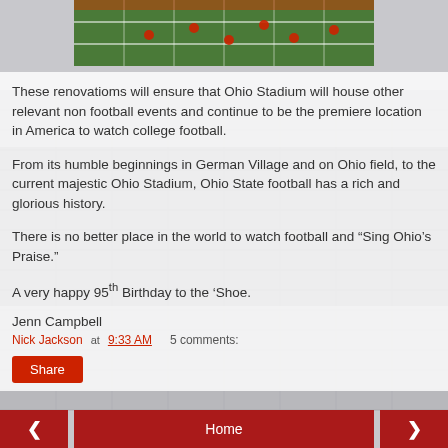[Figure (photo): Aerial or sideline view of Ohio Stadium football field with players in red uniforms on green turf]
These renovatioms will ensure that Ohio Stadium will house other relevant non football events and continue to be the premiere location in America to watch college football.
From its humble beginnings in German Village and on Ohio field, to the current majestic Ohio Stadium, Ohio State football has a rich and glorious history.
There is no better place in the world to watch football and “Sing Ohio’s Praise.”
A very happy 95th Birthday to the ‘Shoe.
Jenn Campbell
Nick Jackson at 9:33 AM   5 comments:
Share
< Home >